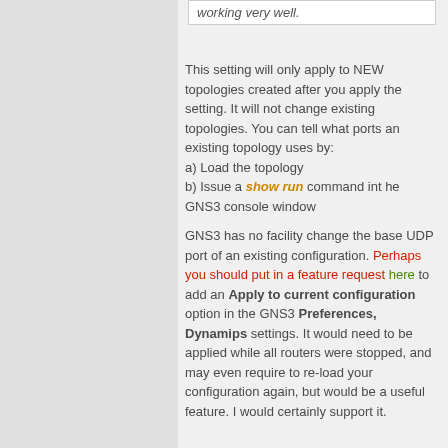working very well.
This setting will only apply to NEW topologies created after you apply the setting. It will not change existing topologies. You can tell what ports an existing topology uses by:
a) Load the topology
b) Issue a show run command int he GNS3 console window

GNS3 has no facility change the base UDP port of an existing configuration. Perhaps you should put in a feature request here to add an Apply to current configuration option in the GNS3 Preferences, Dynamips settings. It would need to be applied while all routers were stopped, and may even require to re-load your configuration again, but would be a useful feature. I would certainly support it.